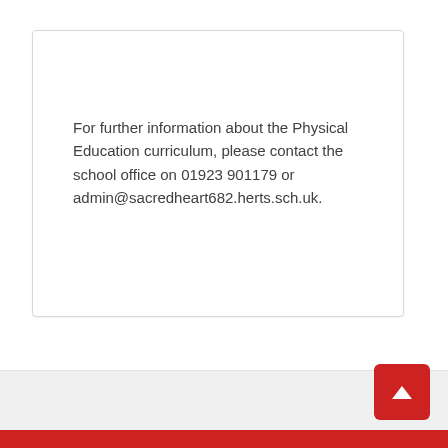For further information about the Physical Education curriculum, please contact the school office on 01923 901179 or admin@sacredheart682.herts.sch.uk.